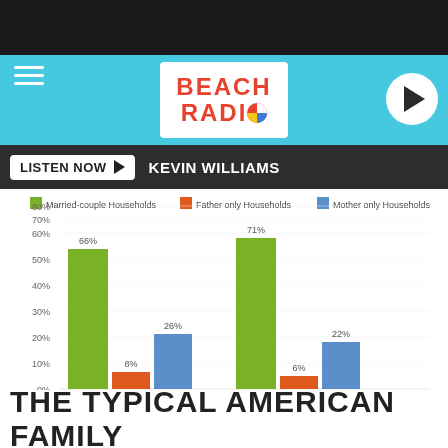Beach Radio — LISTEN NOW ▶ KEVIN WILLIAMS
[Figure (grouped-bar-chart): Household Types]
THE TYPICAL AMERICAN FAMILY